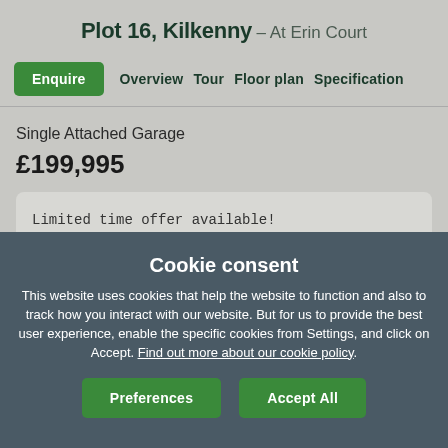Plot 16, Kilkenny – At Erin Court
Enquire  Overview  Tour  Floor plan  Specification
Single Attached Garage
£199,995
Limited time offer available!
Cookie consent
This website uses cookies that help the website to function and also to track how you interact with our website. But for us to provide the best user experience, enable the specific cookies from Settings, and click on Accept. Find out more about our cookie policy.
Preferences  Accept All